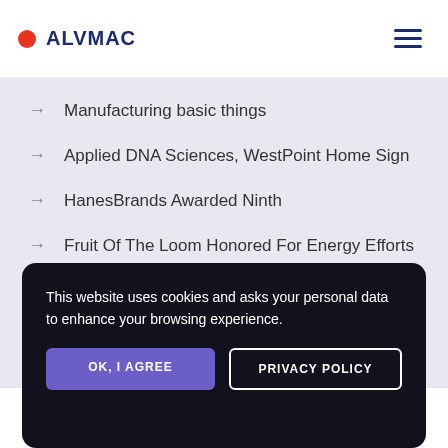ALVMAC
Manufacturing basic things
Applied DNA Sciences, WestPoint Home Sign
HanesBrands Awarded Ninth
Fruit Of The Loom Honored For Energy Efforts
This website uses cookies and asks your personal data to enhance your browsing experience.
OK, I AGREE
PRIVACY POLICY